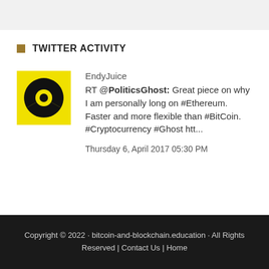TWITTER ACTIVITY
[Figure (logo): Radiation hazard symbol icon — yellow background with black trefoil radiation symbol]
EndyJuice
RT @PoliticsGhost: Great piece on why I am personally long on #Ethereum. Faster and more flexible than #BitCoin. #Cryptocurrency #Ghost htt...

Thursday 6, April 2017 05:30 PM
Copyright © 2022 · bitcoin-and-blockchain.education · All Rights Reserved | Contact Us | Home